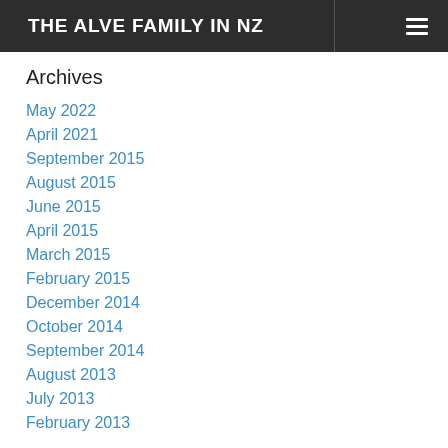THE ALVE FAMILY IN NZ
Archives
May 2022
April 2021
September 2015
August 2015
June 2015
April 2015
March 2015
February 2015
December 2014
October 2014
September 2014
August 2013
July 2013
February 2013